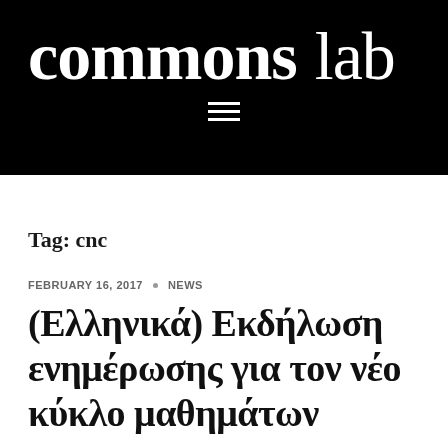commons lab
Tag: cnc
FEBRUARY 16, 2017 · NEWS
(Ελληνικά) Εκδήλωση ενημέρωσης για τον νέο κύκλο μαθημάτων